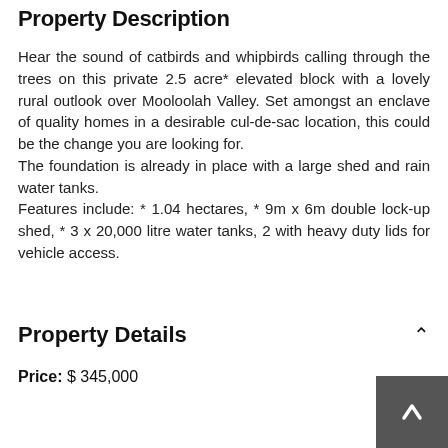Property Description
Hear the sound of catbirds and whipbirds calling through the trees on this private 2.5 acre* elevated block with a lovely rural outlook over Mooloolah Valley. Set amongst an enclave of quality homes in a desirable cul-de-sac location, this could be the change you are looking for.
The foundation is already in place with a large shed and rain water tanks.
Features include: * 1.04 hectares, * 9m x 6m double lock-up shed, * 3 x 20,000 litre water tanks, 2 with heavy duty lids for vehicle access.
Property Details
Price: $ 345,000